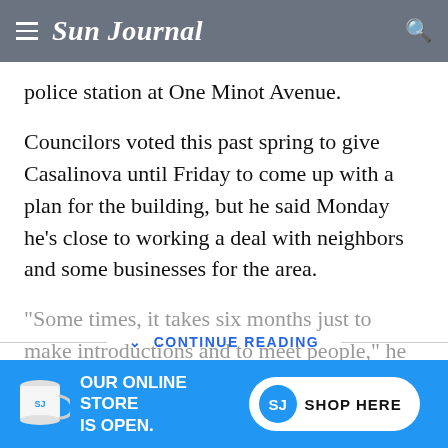Sun Journal
police station at One Minot Avenue.
Councilors voted this past spring to give Casalinova until Friday to come up with a plan for the building, but he said Monday he’s close to working a deal with neighbors and some businesses for the area.
“Some times, it takes six months just to make introductions and to meet people,” he said.
CONTINUE READING
[Figure (screenshot): Advertisement banner for Sun Journal online store with mug image and 'OUR ONLINE STORE IS OPEN.' text alongside a Shop Here button]